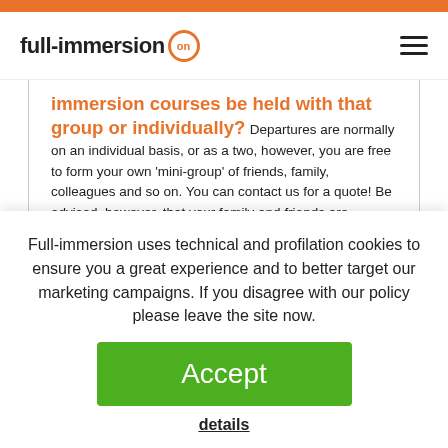full-immersion on
immersion courses be held with that group or individually?
Departures are normally on an individual basis, or as a two, however, you are free to form your own 'mini-group' of friends, family, colleagues and so on. You can contact us for a quote! Be advised, however, that your family and friends are required to take a course in English at the same school as yours in order to stay with you in the same accommodation.
Full-immersion uses technical and profilation cookies to ensure you a great experience and to better target our marketing campaigns. If you disagree with our policy please leave the site now.
Accept
details